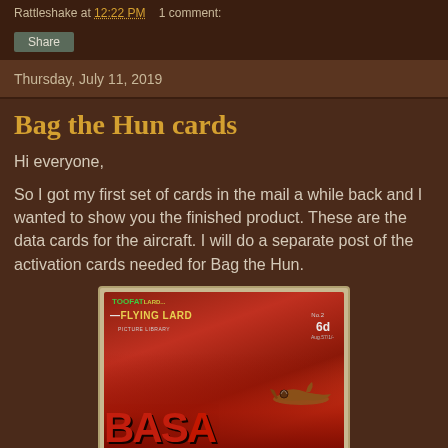Rattlesnake at 12:22 PM   1 comment:
Share
Thursday, July 11, 2019
Bag the Hun cards
Hi everyone,
So I got my first set of cards in the mail a while back and I wanted to show you the finished product. These are the data cards for the aircraft. I will do a separate post of the activation cards needed for Bag the Hun.
[Figure (photo): Photo of a card game product showing a red box/card with 'TOOFATLAR... FLYING LARD' branding and aircraft illustration, labeled No.2 6d]